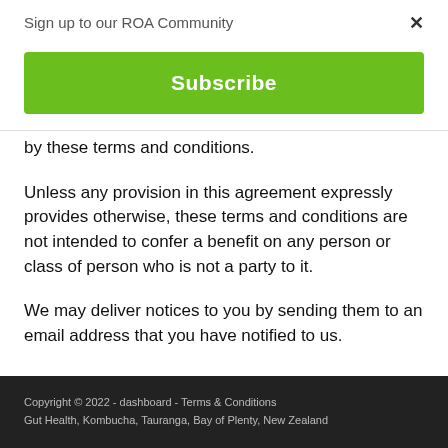Sign up to our ROA Community
Subscribe
by these terms and conditions.
Unless any provision in this agreement expressly provides otherwise, these terms and conditions are not intended to confer a benefit on any person or class of person who is not a party to it.
We may deliver notices to you by sending them to an email address that you have notified to us.
Copyright © 2022 - dashboard - Terms & Conditions
Gut Health, Kombucha, Tauranga, Bay of Plenty, New Zealand